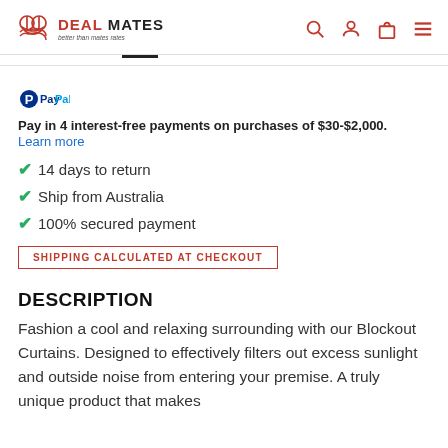DEAL MATES — better than mates rates
Pay in 4 interest-free payments on purchases of $30-$2,000. Learn more
14 days to return
Ship from Australia
100% secured payment
SHIPPING CALCULATED AT CHECKOUT
DESCRIPTION
Fashion a cool and relaxing surrounding with our Blockout Curtains. Designed to effectively filters out excess sunlight and outside noise from entering your premise. A truly unique product that makes